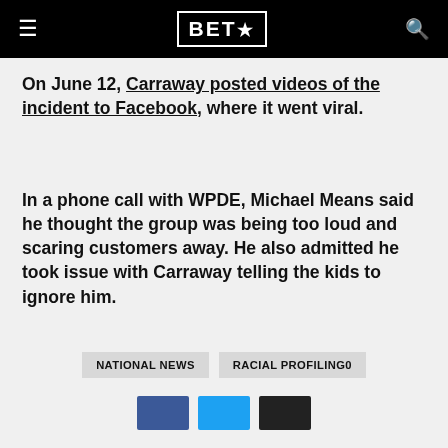BET★
On June 12, Carraway posted videos of the incident to Facebook, where it went viral.
In a phone call with WPDE, Michael Means said he thought the group was being too loud and scaring customers away. He also admitted he took issue with Carraway telling the kids to ignore him.
NATIONAL NEWS   RACIAL PROFILING0
[Figure (other): Social media share buttons: Facebook (blue), Twitter (cyan), and a black button]